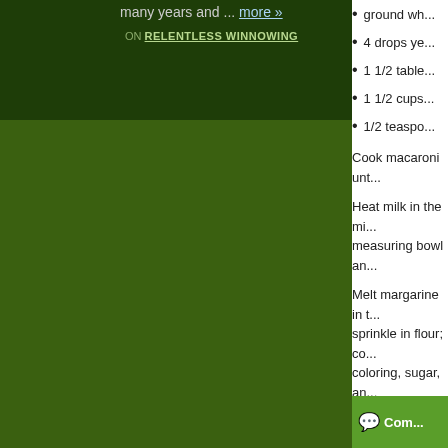many years and ... more »
ON RELENTLESS WINNOWING
ground wh...
4 drops ye...
1 1/2 table...
1 1/2 cups...
1/2 teaspo...
Cook macaroni unt...
Heat milk in the mi... measuring bowl an...
Melt margarine in t... sprinkle in flour; co... coloring, sugar, an... 3/4 cup cheese an...
Stir the macaroni i... 3/4 cheese on top ...
Oct 31, 2011 8:43:44...